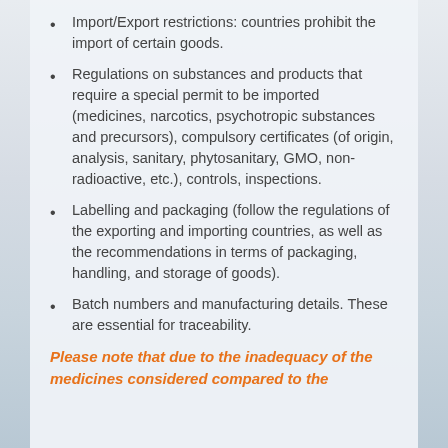Import/Export restrictions: countries prohibit the import of certain goods.
Regulations on substances and products that require a special permit to be imported (medicines, narcotics, psychotropic substances and precursors), compulsory certificates (of origin, analysis, sanitary, phytosanitary, GMO, non-radioactive, etc.), controls, inspections.
Labelling and packaging (follow the regulations of the exporting and importing countries, as well as the recommendations in terms of packaging, handling, and storage of goods).
Batch numbers and manufacturing details. These are essential for traceability.
Please note that due to the inadequacy of the medicines considered compared to the